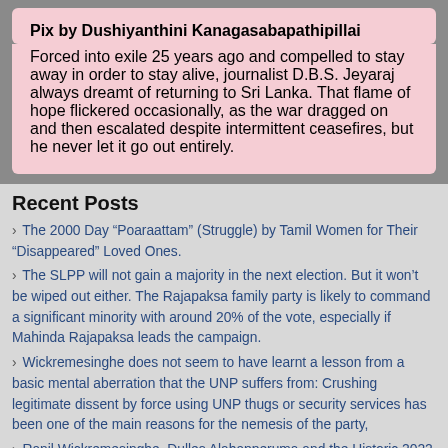Pix by Dushiyanthini Kanagasabapathipillai
Forced into exile 25 years ago and compelled to stay away in order to stay alive, journalist D.B.S. Jeyaraj always dreamt of returning to Sri Lanka. That flame of hope flickered occasionally, as the war dragged on and then escalated despite intermittent ceasefires, but he never let it go out entirely.
Recent Posts
› The 2000 Day “Poaraattam” (Struggle) by Tamil Women for Their “Disappeared” Loved Ones.
› The SLPP will not gain a majority in the next election. But it won’t be wiped out either. The Rajapaksa family party is likely to command a significant minority with around 20% of the vote, especially if Mahinda Rajapaksa leads the campaign.
› Wickremesinghe does not seem to have learnt a lesson from a basic mental aberration that the UNP suffers from: Crushing legitimate dissent by force using UNP thugs or security services has been one of the main reasons for the nemesis of the party,
› Ranil Wickremesinghe, Dulles Alahapperuma and the Historic 2022